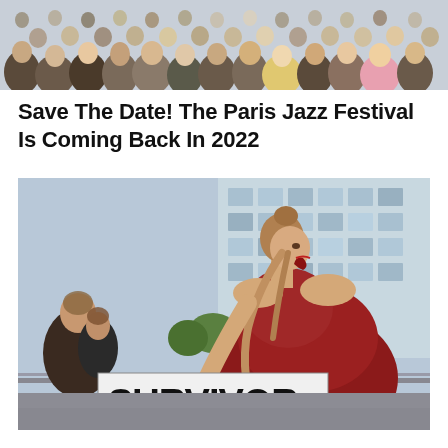[Figure (photo): Crowd of people seen from behind, outdoors, at a public event or festival]
Save The Date! The Paris Jazz Festival Is Coming Back In 2022
[Figure (photo): Woman in a red off-shoulder dress shouting, holding a sign that reads SURVIVOR, at an outdoor protest or rally, with a modern glass building in the background]